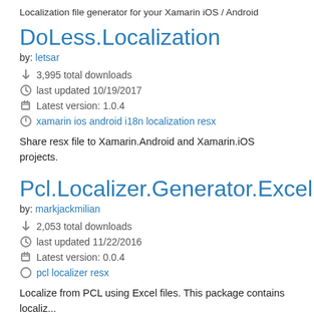Localization file generator for your Xamarin iOS / Android
DoLess.Localization
by: letsar
3,995 total downloads
last updated 10/19/2017
Latest version: 1.0.4
xamarin ios android i18n localization resx
Share resx file to Xamarin.Android and Xamarin.iOS projects.
Pcl.Localizer.Generator.Excel
by: markjackmilian
2,053 total downloads
last updated 11/22/2016
Latest version: 0.0.4
pcl localizer resx
Localize from PCL using Excel files. This package contains localiz...